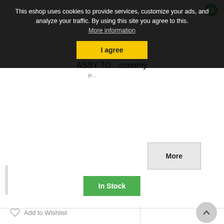This eshop uses cookies to provide services, customize your ads, and analyze your traffic. By using this site you agree to this.
More information
I agree
ASSY TO...conomy
More
In Stock
Add to Wishlist
[Figure (photo): Photo of a round black mechanical belt tensioner pulley/bearing component on a light background inside a bordered product image box]